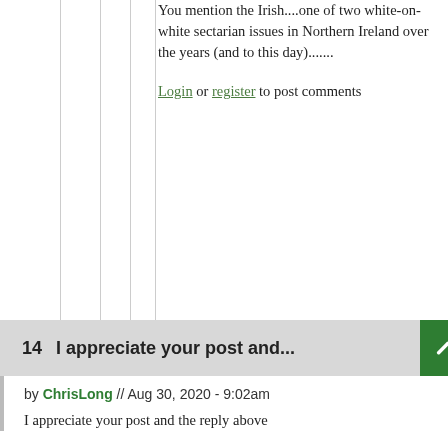You mention the Irish....one of two white-on-white sectarian issues in Northern Ireland over the years (and to this day).......
Login or register to post comments
14  I appreciate your post and...
by ChrisLong // Aug 30, 2020 - 9:02am
I appreciate your post and the reply above